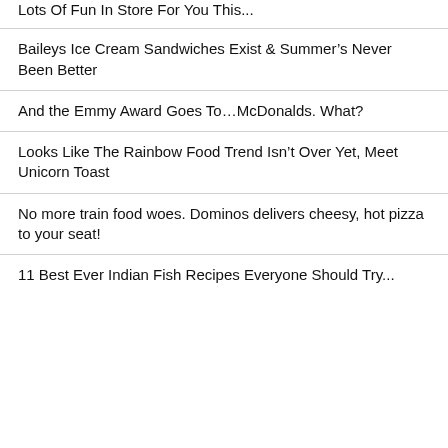Lots Of Fun In Store For You This...
Baileys Ice Cream Sandwiches Exist & Summer's Never Been Better
And the Emmy Award Goes To…McDonalds. What?
Looks Like The Rainbow Food Trend Isn't Over Yet, Meet Unicorn Toast
No more train food woes. Dominos delivers cheesy, hot pizza to your seat!
11 Best Ever Indian Fish Recipes Everyone Should Try...